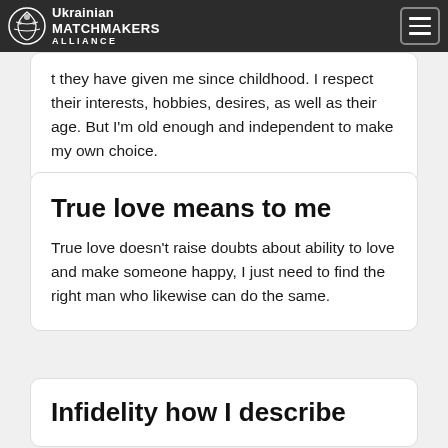Ukrainian matchmakers ALLIANCE
they have given me since childhood. I respect their interests, hobbies, desires, as well as their age. But I'm old enough and independent to make my own choice.
True love means to me
True love doesn't raise doubts about ability to love and make someone happy, I just need to find the right man who likewise can do the same.
Infidelity how I describe